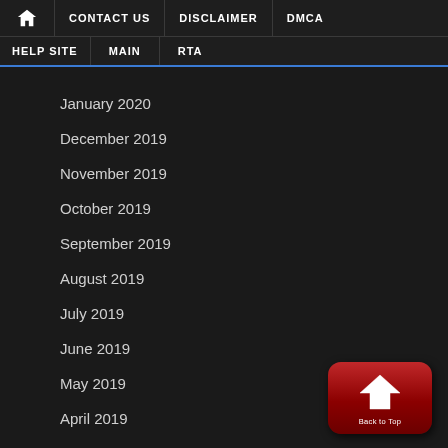🏠 | CONTACT US | DISCLAIMER | DMCA | HELP SITE | MAIN | RTA
January 2020
December 2019
November 2019
October 2019
September 2019
August 2019
July 2019
June 2019
May 2019
April 2019
March 2019
February 2019
January 2019
[Figure (illustration): Red rounded rectangle button with white upload/home arrow icon and 'Back to Top' label]